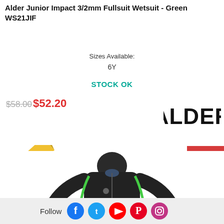Alder Junior Impact 3/2mm Fullsuit Wetsuit - Green
WS21JIF
Sizes Available:
6Y
STOCK OK
$58.00 $52.20
[Figure (logo): Alder brand logo in bold black letters]
[Figure (illustration): Youth ribbon badge in yellow/gold diagonal ribbon with text YOUTH]
[Figure (other): 11% discount badge in red]
[Figure (photo): Junior green wetsuit product photo showing torso of black wetsuit with green accents]
Follow